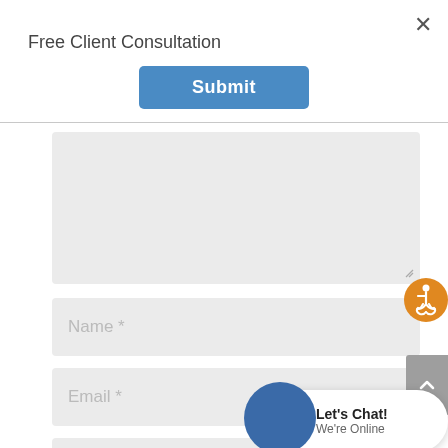Free Client Consultation
Submit
[Figure (screenshot): A web form with textarea, Name, Email, Website fields and a Submit button. An orange accessibility icon and gray scroll-to-top button appear on the right edge. A chat widget with blue circle avatar shows 'Let's Chat! We're Online'. A checkbox row reads 'Notify me of follow-up comments by email.']
Name *
Email *
Website
Notify me of follow-up comments by email.